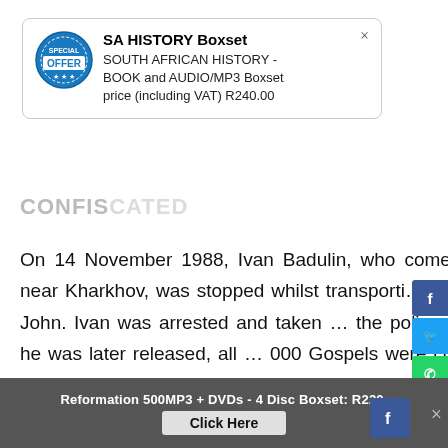[Figure (other): SA HISTORY Boxset popup with offer badge logo showing 'SPECIAL OFFER' in blue circle stamp, title 'SA HISTORY Boxset', description 'SOUTH AFRICAN HISTORY - BOOK and AUDIO/MP3 Boxset price (including VAT) R240.00', with close X button]
CONFIS...
On 14 November 1988, Ivan Badulin, who comes from a village near Kharkhov, was stopped whilst transporting 80 000 Gospels of John. Ivan was arrested and taken to the police station. Although he was later released, all 80 000 Gospels were confiscated by the Soviet police.
ONLY FOR SOME
Two gift consignments of Bibles sent in June 1988, from West German churches to two independent unregistered
Reformation 500MP3 + DVDs - 4 Disc Boxset: R220.   Click Here